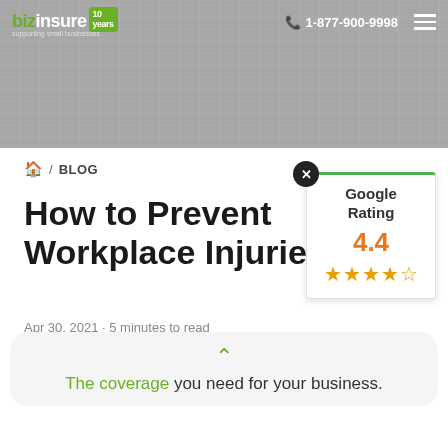[Figure (screenshot): Website header with laptop keyboard background, BizInsure logo with '10 years' badge, phone number 1-877-900-9998, and hamburger menu]
🏠 / BLOG
How to Prevent Workplace Injuries
Apr 30, 2021 · 5 minutes to read
[Figure (infographic): Google Rating widget showing 4.4 stars with orange star icons, green top border, and close button]
The coverage you need for your business.